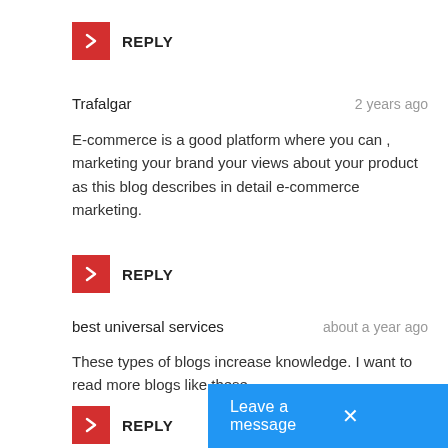REPLY
Trafalgar   2 years ago
E-commerce is a good platform where you can , marketing your brand your views about your product as this blog describes in detail e-commerce marketing.
REPLY
best universal services   about a year ago
These types of blogs increase knowledge. I want to read more blogs like these.
REPLY
Leave a message